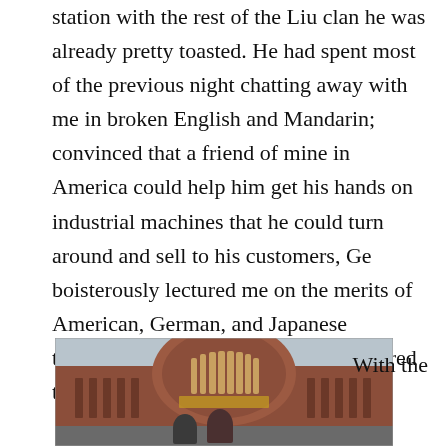station with the rest of the Liu clan he was already pretty toasted. He had spent most of the previous night chatting away with me in broken English and Mandarin; convinced that a friend of mine in America could help him get his hands on industrial machines that he could turn around and sell to his customers, Ge boisterously lectured me on the merits of American, German, and Japanese technology and how the Chinese admired their craftsmanship.
[Figure (photo): Two people standing in front of a large red-brick train station building with an arched facade and vertical window panels. Chinese characters are visible above the entrance.]
With the